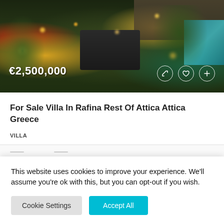[Figure (photo): Nighttime exterior photo of a villa with warm garden lighting, palm trees, dark planter/water feature, and a blue swimming pool visible on the right. Price overlay shows €2,500,000 with action icons (expand, favorite, add).]
For Sale Villa In Rafina Rest Of Attica Attica Greece
VILLA
This website uses cookies to improve your experience. We'll assume you're ok with this, but you can opt-out if you wish.